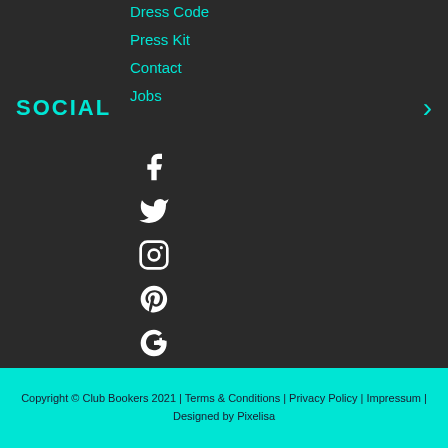Dress Code
Press Kit
Contact
Jobs
SOCIAL
[Figure (infographic): Social media icons column: Facebook, Twitter, Instagram, Pinterest, Google+, Vimeo, YouTube]
Copyright © Club Bookers 2021 | Terms & Conditions | Privacy Policy | Impressum | Designed by Pixelisa